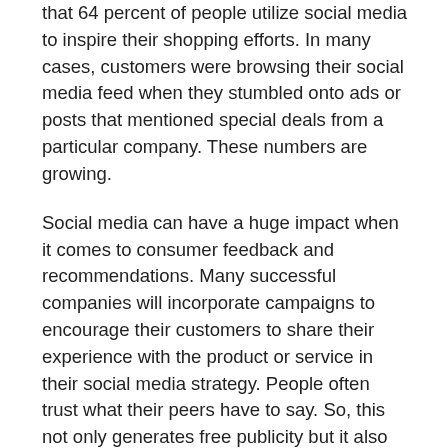that 64 percent of people utilize social media to inspire their shopping efforts. In many cases, customers were browsing their social media feed when they stumbled onto ads or posts that mentioned special deals from a particular company. These numbers are growing.
Social media can have a huge impact when it comes to consumer feedback and recommendations. Many successful companies will incorporate campaigns to encourage their customers to share their experience with the product or service in their social media strategy. People often trust what their peers have to say. So, this not only generates free publicity but it also potentially increases sales.
In order to optimize social media use and increase sales, one must have a thorough understanding of each of the platforms. Facebook users will have different content expectations than Pinterest users and, thus, the promotional strategy must be adjusted to fit certain formats. Audiences